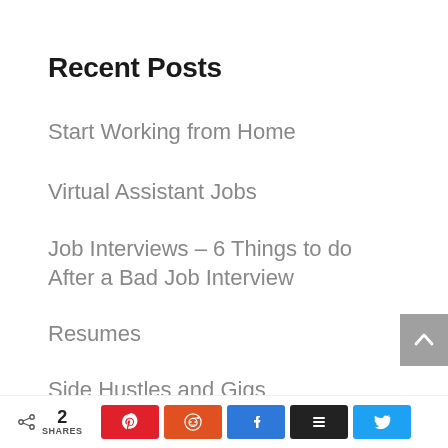Recent Posts
Start Working from Home
Virtual Assistant Jobs
Job Interviews – 6 Things to do After a Bad Job Interview
Resumes
Side Hustles and Gigs
2 SHARES | Pinterest | Reddit | Facebook | Buffer | Twitter